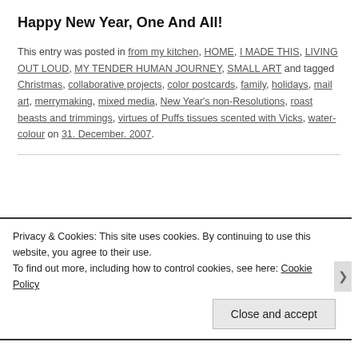Happy New Year, One And All!
This entry was posted in from my kitchen, HOME, I MADE THIS, LIVING OUT LOUD, MY TENDER HUMAN JOURNEY, SMALL ART and tagged Christmas, collaborative projects, color postcards, family, holidays, mail art, merrymaking, mixed media, New Year's non-Resolutions, roast beasts and trimmings, virtues of Puffs tissues scented with Vicks, water-colour on 31. December. 2007.
Privacy & Cookies: This site uses cookies. By continuing to use this website, you agree to their use.
To find out more, including how to control cookies, see here: Cookie Policy